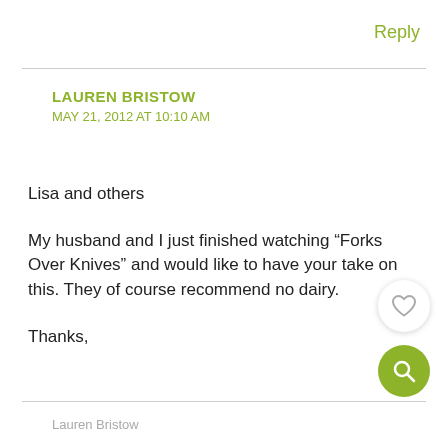Reply
LAUREN BRISTOW
MAY 21, 2012 AT 10:10 AM
Lisa and others
My husband and I just finished watching “Forks Over Knives” and would like to have your take on this. They of course recommend no dairy.
Thanks,
Lauren Bristow